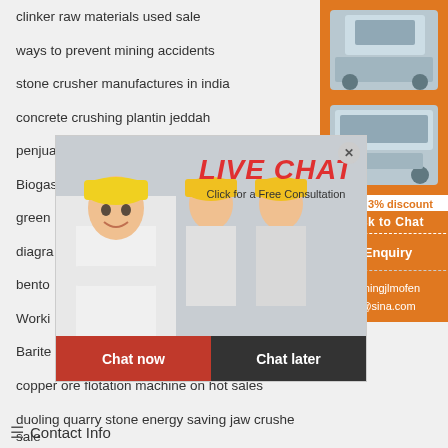clinker raw materials used sale
ways to prevent mining accidents
stone crusher manufactures in india
concrete crushing plantin jeddah
penjualan bola keramik untuk ball grinding mill
Biogas Chp Unit For Small Scale Anaerobic
green...
diagra...
bento...
Worki...
Barite Processing Method
copper ore flotation machine on hot sales
duoling quarry stone energy saving jaw crusher sale
[Figure (screenshot): Sidebar advertisement with mining/crushing machinery images, discount offer, enquiry section, and email contact limingjlmofen@sina.com]
[Figure (screenshot): Live chat popup overlay with a woman in hard hat, LIVE CHAT heading in red italic, Click for a Free Consultation text, Chat now and Chat later buttons]
Contact Info